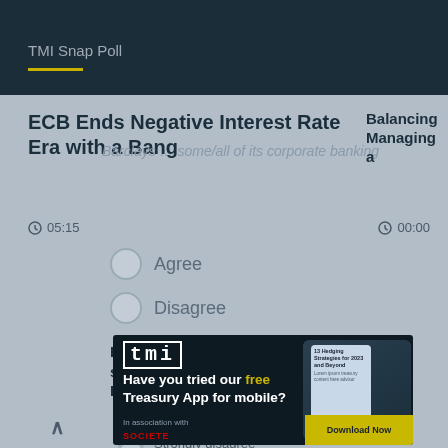[Figure (screenshot): TMI Snap Poll banner screenshot in dark navy background]
ECB Ends Negative Interest Rate Era with a Bang
Barclays … some/all of its corporate banking
Balancing Managing a
05:15
00:00
Agree
Disagree
Barclays is capable of supporting my business in Europe
Strongly agree
Agree
Disagree
Strongly disagree
N/A
[Figure (screenshot): TMI app advertisement overlay: Have you tried our free Treasury App for mobile? with phone image and Download Now button. In association with SOCIETE.]